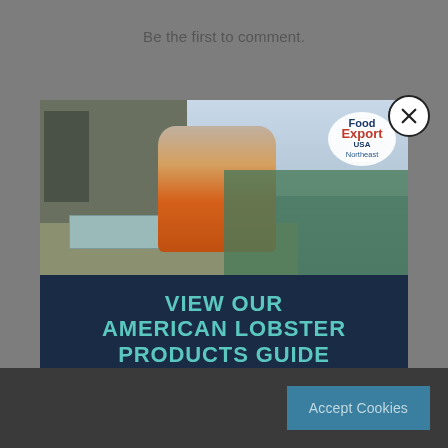Be the first to comment.
[Figure (photo): A lobster fisherman on a boat handling lobster traps with a lighthouse in the background. Food Export USA Northeast badge visible in top right of the photo.]
VIEW OUR AMERICAN LOBSTER PRODUCTS GUIDE
PROFITABLE • SUSTAINABLE • DELICIOUS
DOWNLOAD NOW
Accept Cookies